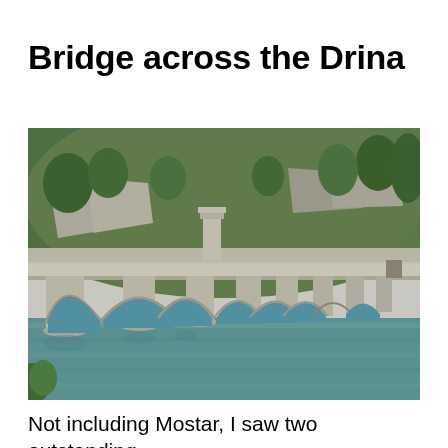Bridge across the Drina
[Figure (photo): Photograph of a historic stone arch bridge spanning a turquoise river, with multiple arches and a small tower visible. Green forested hillside and rocky cliffs in the background. The bridge is built of light grey stone.]
Not including Mostar, I saw two outstanding